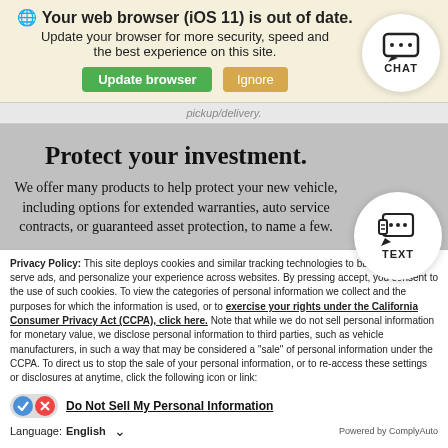Your web browser (iOS 11) is out of date.
Update your browser for more security, speed and the best experience on this site.
pickup/delivery.
Protect your investment.
We offer many products to help protect your new vehicle, including options for extended warranties, auto service contracts, or guaranteed asset protection, to name a few.
Privacy Policy: This site deploys cookies and similar tracking technologies to build profiles, serve ads, and personalize your experience across websites. By pressing accept, you consent to the use of such cookies. To view the categories of personal information we collect and the purposes for which the information is used, or to exercise your rights under the California Consumer Privacy Act (CCPA), click here. Note that while we do not sell personal information for monetary value, we disclose personal information to third parties, such as vehicle manufacturers, in such a way that may be considered a "sale" of personal information under the CCPA. To direct us to stop the sale of your personal information, or to re-access these settings or disclosures at anytime, click the following icon or link:
Do Not Sell My Personal Information
Language: English ∨ Powered by ComplyAuto
Accept and Continue → | California Privacy Disclosures